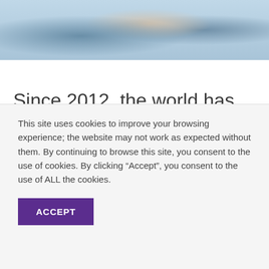[Figure (photo): Partial photo of people at the top of the page, showing torsos and hands holding a dark object, cropped]
Since 2012, the world has been celebrating the International Day of the Girl Child to highlight the unique experiences of girls and encourage the
This site uses cookies to improve your browsing experience; the website may not work as expected without them. By continuing to browse this site, you consent to the use of cookies. By clicking “Accept”, you consent to the use of ALL the cookies.
ACCEPT